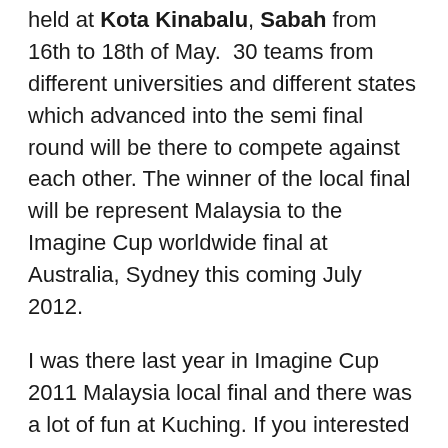held at Kota Kinabalu, Sabah from 16th to 18th of May.  30 teams from different universities and different states which advanced into the semi final round will be there to compete against each other. The winner of the local final will be represent Malaysia to the Imagine Cup worldwide final at Australia, Sydney this coming July 2012.
I was there last year in Imagine Cup 2011 Malaysia local final and there was a lot of fun at Kuching. If you interested to know what happen last year, check out the post Day 1, Day 2 and Day 3. I'm very interested to see what students bring this year because the projects that students develop are getting better and better each year and I hoping to see  something even more exciting this year. Imagine students developing projects that can solve the world toughest problems, it is not an easy tasks and yet their step up to the challenge given by Microsoft.